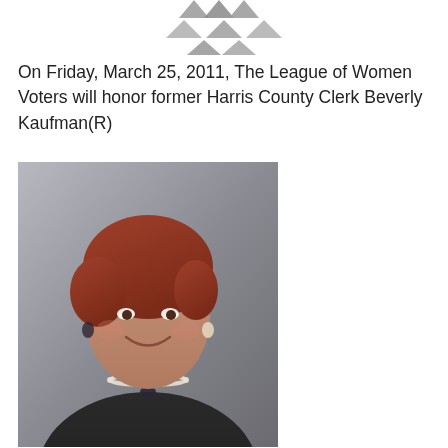[Figure (logo): League of Women Voters logo — partial view of decorative floral/laurel emblem in gray tones]
On Friday, March 25, 2011, The League of Women Voters will honor former Harris County Clerk Beverly Kaufman(R)
[Figure (photo): Portrait photograph of Beverly Kaufman, a woman with short reddish-brown hair, wearing a dark blazer and pearl necklace, smiling, against a gray background]